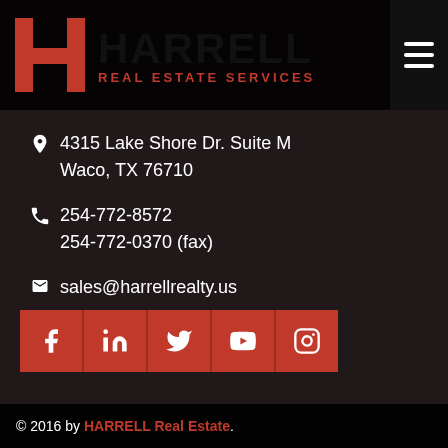[Figure (logo): Harrell Real Estate Services logo with red H icon and black HARRELL text with red REAL ESTATE SERVICES subtitle]
4315 Lake Shore Dr. Suite M
Waco, TX 76710
254-772-8572
254-772-0370 (fax)
sales@harrellrealty.us
[Figure (infographic): Social media icon buttons: Facebook, LinkedIn, Twitter, YouTube, Instagram on red square backgrounds]
© 2016 by HARRELL Real Estate.